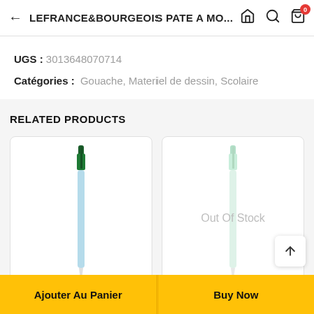LEFRANCE&BOURGEOIS PATE A MO...
UGS : 3013648070714
Catégories :  Gouache, Materiel de dessin, Scolaire
RELATED PRODUCTS
[Figure (photo): A dark green ballpoint pen shown vertically]
[Figure (photo): A light green/mint ballpoint pen shown vertically, with 'Out Of Stock' overlay text]
Ajouter Au Panier
Buy Now